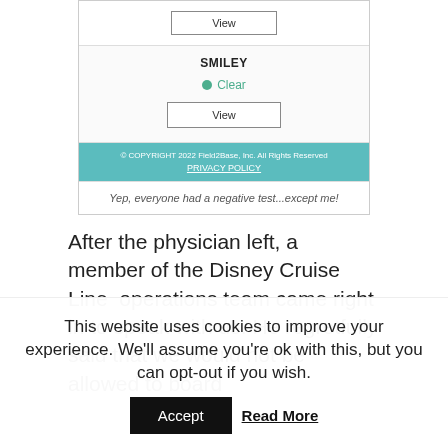[Figure (screenshot): Screenshot of a Field2Base form application showing a SMILEY section with a Clear indicator (green), a View button, a teal footer with copyright and privacy policy text, and an italic caption below.]
Yep, everyone had a negative test...except me!
After the physician left, a member of the Disney Cruise Line operations team came right in to speak with us. He regretfully said that we would not be allowed to board
This website uses cookies to improve your experience. We'll assume you're ok with this, but you can opt-out if you wish.